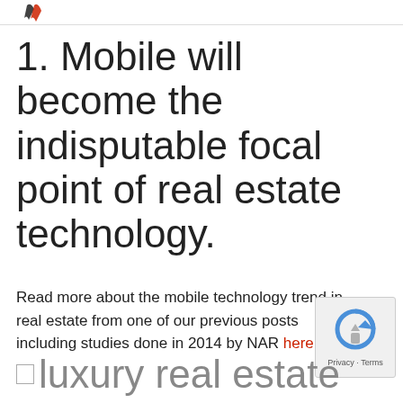1. Mobile will become the indisputable focal point of real estate technology.
Read more about the mobile technology trend in real estate from one of our previous posts including studies done in 2014 by NAR here.
luxury real estate